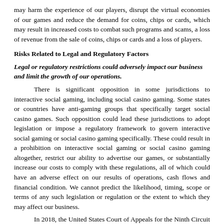may harm the experience of our players, disrupt the virtual economies of our games and reduce the demand for coins, chips or cards, which may result in increased costs to combat such programs and scams, a loss of revenue from the sale of coins, chips or cards and a loss of players.
Risks Related to Legal and Regulatory Factors
Legal or regulatory restrictions could adversely impact our business and limit the growth of our operations.
There is significant opposition in some jurisdictions to interactive social gaming, including social casino gaming. Some states or countries have anti-gaming groups that specifically target social casino games. Such opposition could lead these jurisdictions to adopt legislation or impose a regulatory framework to govern interactive social gaming or social casino gaming specifically. These could result in a prohibition on interactive social gaming or social casino gaming altogether, restrict our ability to advertise our games, or substantially increase our costs to comply with these regulations, all of which could have an adverse effect on our results of operations, cash flows and financial condition. We cannot predict the likelihood, timing, scope or terms of any such legislation or regulation or the extent to which they may affect our business.
In 2018, the United States Court of Appeals for the Ninth Circuit decided that a social casino game produced by one of our competitors should be considered illegal gambling under Washington state law. Similar lawsuits have been filed against other defendants, including Scientific Games. For example, in April 2018, a putative class action lawsuit was filed in federal district court alleging substantially the same causes of action against our social casino games.